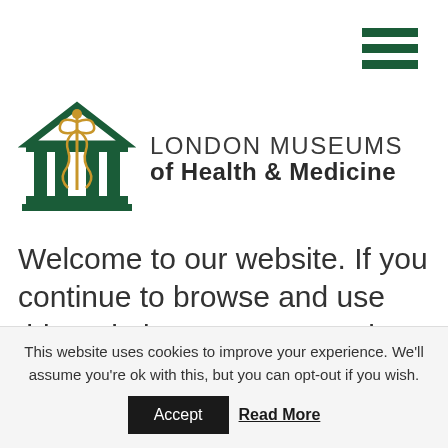[Figure (logo): Hamburger menu icon — three dark green horizontal bars in top-right corner]
[Figure (logo): London Museums of Health & Medicine logo: a green classical building with pillars and a gold caduceus, beside text reading LONDON MUSEUMS of Health & Medicine]
Welcome to our website. If you continue to browse and use this website you are agreeing to comply with and be bound by
This website uses cookies to improve your experience. We'll assume you're ok with this, but you can opt-out if you wish.
Accept
Read More